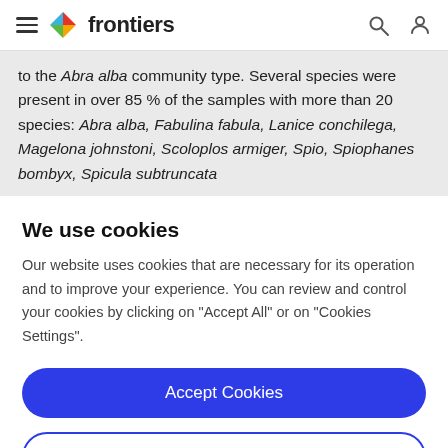frontiers
to the Abra alba community type. Several species were present in over 85 % of the samples with more than 20 species: Abra alba, Fabulina fabula, Lanice conchilega, Magelona johnstoni, Scoloplos armiger, Spio, Spiophanes bombyx, Spicula subtruncata
We use cookies
Our website uses cookies that are necessary for its operation and to improve your experience. You can review and control your cookies by clicking on "Accept All" or on "Cookies Settings".
Accept Cookies
Cookies Settings